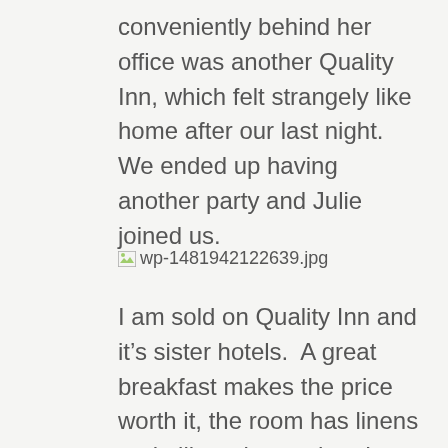conveniently behind her office was another Quality Inn, which felt strangely like home after our last night.  We ended up having another party and Julie joined us.
[Figure (other): Broken image placeholder showing filename: wp-1481942122639.jpg]
I am sold on Quality Inn and it’s sister hotels.  A great breakfast makes the price worth it, the room has linens and pillows better than I have at home, and the staff was